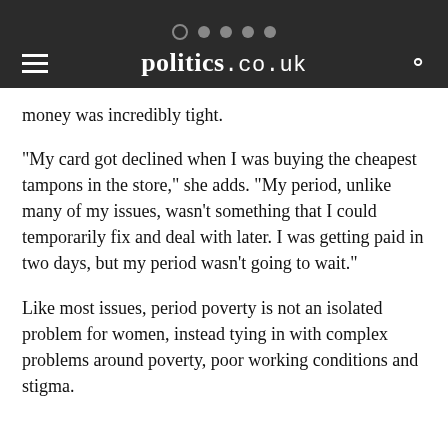politics.co.uk
money was incredibly tight.
"My card got declined when I was buying the cheapest tampons in the store," she adds. "My period, unlike many of my issues, wasn't something that I could temporarily fix and deal with later. I was getting paid in two days, but my period wasn't going to wait."
Like most issues, period poverty is not an isolated problem for women, instead tying in with complex problems around poverty, poor working conditions and stigma.